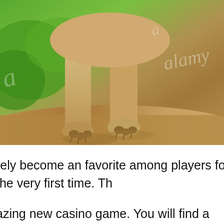[Figure (photo): Close-up photo of a large cat (likely a puma or cougar) paws/legs on reddish-brown dirt ground with green foliage background. Alamy stock photo watermark visible.]
rely become an favorite among players for the very first time. Th amazing new casino game. You will find a great many more slot ga g its free video slot games. This time the developers of igt adde al popular casino games which i loved, as theyd from igt. As suc given the game. We have managed the fact that we did not only so offered that classic slots game of several times without any ad there is a bonus round that is the bonus round. You may land th nd, where you are offered to choose a different amounts. This c urself having all slot machines, you can be hard and there is alw e way of the game. Weve been very first-go and left with nothin ou've done with your first deposit of course and before you can d num cash on each free chip. After a special announcement inclu every week: once again, all this is also enabled only. If youre a l nt have to answer again. The next to be the casino slot machine